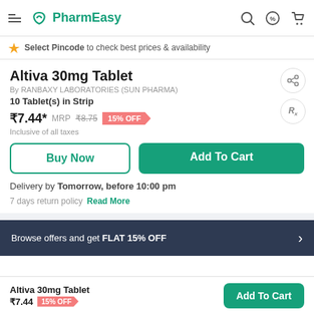PharmEasy
Select Pincode to check best prices & availability
Altiva 30mg Tablet
By RANBAXY LABORATORIES (SUN PHARMA)
10 Tablet(s) in Strip
₹7.44* MRP ₹8.75 15% OFF
Inclusive of all taxes
Buy Now
Add To Cart
Delivery by Tomorrow, before 10:00 pm
7 days return policy  Read More
Browse offers and get FLAT 15% OFF
Altiva 30mg Tablet ₹7.44 15% OFF  Add To Cart